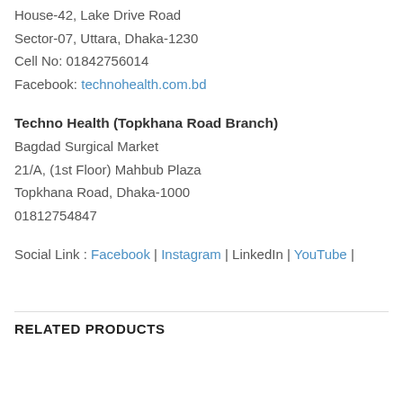House-42, Lake Drive Road
Sector-07, Uttara, Dhaka-1230
Cell No: 01842756014
Facebook: technohealth.com.bd
Techno Health (Topkhana Road Branch)
Bagdad Surgical Market
21/A, (1st Floor) Mahbub Plaza
Topkhana Road, Dhaka-1000
01812754847
Social Link : Facebook | Instagram | LinkedIn | YouTube |
RELATED PRODUCTS